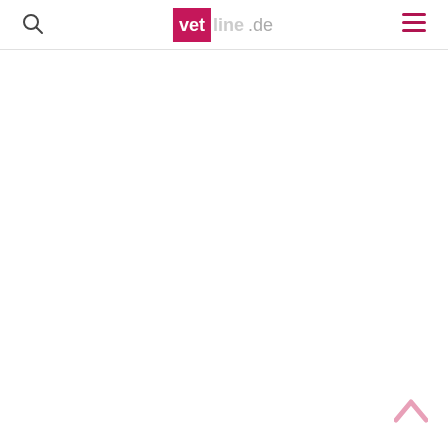vetline.de
[Figure (logo): vetline.de logo with pink/magenta background for 'vet' text and gray 'line.de' text]